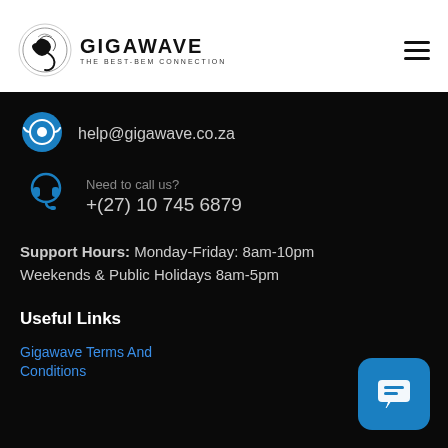[Figure (logo): Gigawave logo with circular wave graphic and text 'GIGAWAVE THE BEST-BEM CONNECTION']
help@gigawave.co.za
Need to call us?
+(27) 10 745 6879
Support Hours:   Monday-Friday: 8am-10pm
Weekends & Public Holidays 8am-5pm
Useful Links
Gigawave Terms And Conditions
[Figure (other): Blue chat/message button icon in bottom right corner]